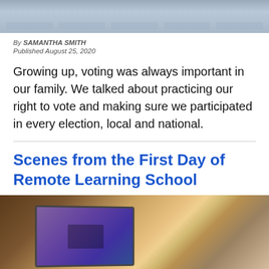[Figure (photo): Top photo showing a classroom or polling place scene with rows of desks/booths, partial view]
By SAMANTHA SMITH
Published August 25, 2020
Growing up, voting was always important in our family. We talked about practicing our right to vote and making sure we participated in every election, local and national.
Scenes from the First Day of Remote Learning School
[Figure (photo): Photo of a child or person using a laptop for remote learning, warm wooden surface background, blurred figure in background]